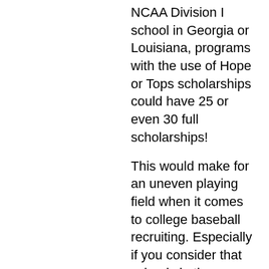NCAA Division I school in Georgia or Louisiana, programs with the use of Hope or Tops scholarships could have 25 or even 30 full scholarships!
This would make for an uneven playing field when it comes to college baseball recruiting. Especially if you consider that schools in these states will then be able to use more of the allotted (11.7, 9, etc.) scholarship monies for "out of state" players.
Some schools are limited as to